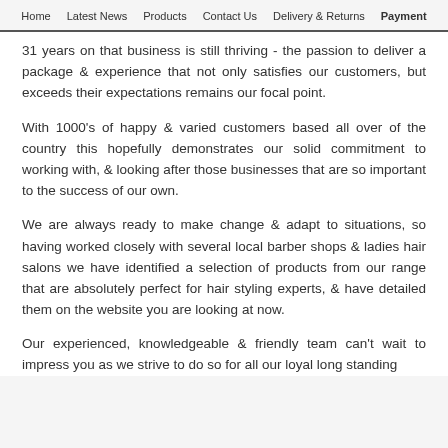Home | Latest News | Products | Contact Us | Delivery & Returns | Payment
31 years on that business is still thriving - the passion to deliver a package & experience that not only satisfies our customers, but exceeds their expectations remains our focal point.
With 1000's of happy & varied customers based all over of the country this hopefully demonstrates our solid commitment to working with, & looking after those businesses that are so important to the success of our own.
We are always ready to make change & adapt to situations, so having worked closely with several local barber shops & ladies hair salons we have identified a selection of products from our range that are absolutely perfect for hair styling experts, & have detailed them on the website you are looking at now.
Our experienced, knowledgeable & friendly team can't wait to impress you as we strive to do so for all our loyal long standing